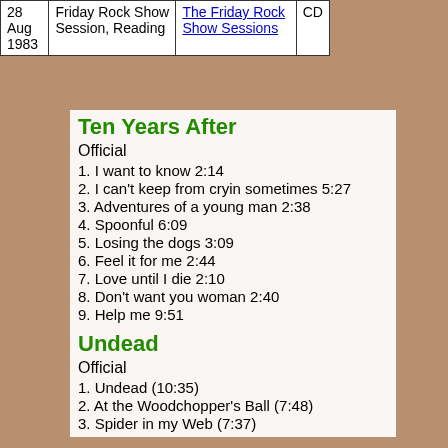| Date | Session | Release | Format |
| --- | --- | --- | --- |
| 28 Aug 1983 | Friday Rock Show Session, Reading | The Friday Rock Show Sessions | CD |
Ten Years After
Official
1. I want to know 2:14
2. I can't keep from cryin sometimes 5:27
3. Adventures of a young man  2:38
4. Spoonful  6:09
5. Losing the dogs 3:09
6. Feel it for me 2:44
7. Love until I die 2:10
8. Don't want you woman  2:40
9. Help me  9:51
Undead
Official
1. Undead (10:35)
2. At the Woodchopper's Ball (7:48)
3. Spider in my Web (7:37)